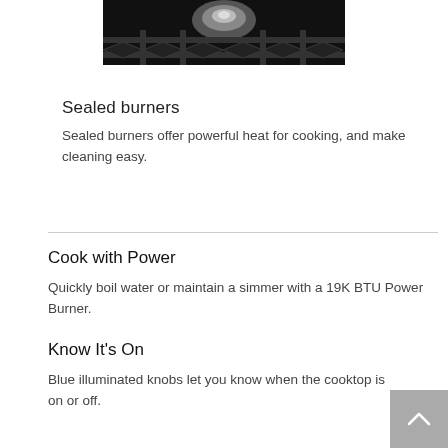[Figure (photo): Close-up black and white photo of a gas cooktop burner grate with a metallic burner cap visible]
Sealed burners
Sealed burners offer powerful heat for cooking, and make cleaning easy.
Cook with Power
Quickly boil water or maintain a simmer with a 19K BTU Power Burner.
Know It's On
Blue illuminated knobs let you know when the cooktop is on or off.